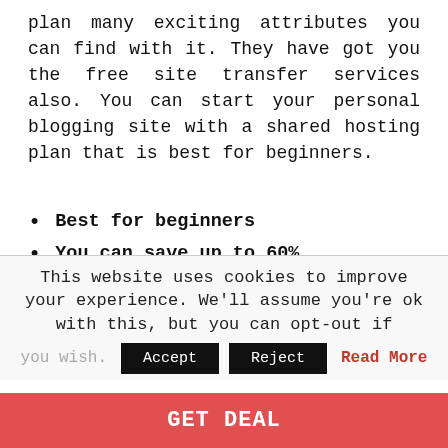plan many exciting attributes you can find with it. They have got you the free site transfer services also. You can start your personal blogging site with a shared hosting plan that is best for beginners.
Best for beginners
You can save up to 60%
WordPress, Drupal & Joomla optimized
Turbo Server (up to 20x faster)
Easy to use
Free and easy site transfer
This website uses cookies to improve your experience. We'll assume you're ok with this, but you can opt-out if you wish.
GET DEAL